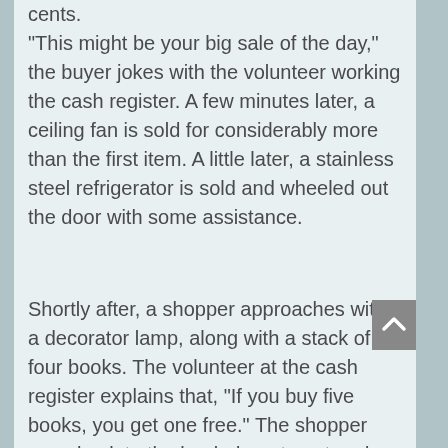cents. “This might be your big sale of the day,” the buyer jokes with the volunteer working the cash register. A few minutes later, a ceiling fan is sold for considerably more than the first item. A little later, a stainless steel refrigerator is sold and wheeled out the door with some assistance.
Shortly after, a shopper approaches with a decorator lamp, along with a stack of four books. The volunteer at the cash register explains that, “If you buy five books, you get one free.” The shopper goes back to the book department and soon returns with two additional volumes, making five she pays for and the “freebie,” plus the lamp of course.